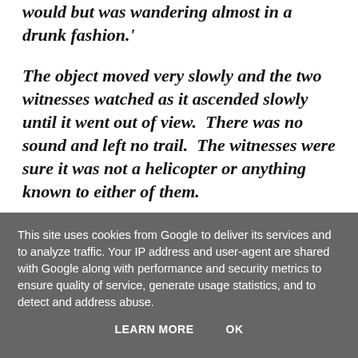would but was wandering almost in a drunk fashion.'
The object moved very slowly and the two witnesses watched as it ascended slowly until it went out of view. There was no sound and left no trail. The witnesses were sure it was not a helicopter or anything known to either of them.
'Later on after word had got around, some of the other workers who had come from the opposite way to me (from the valleys area) had also seen it and said that it
This site uses cookies from Google to deliver its services and to analyze traffic. Your IP address and user-agent are shared with Google along with performance and security metrics to ensure quality of service, generate usage statistics, and to detect and address abuse.
LEARN MORE    OK